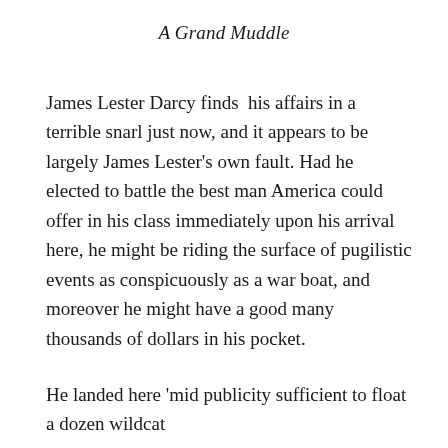A Grand Muddle
James Lester Darcy finds his affairs in a terrible snarl just now, and it appears to be largely James Lester's own fault. Had he elected to battle the best man America could offer in his class immediately upon his arrival here, he might be riding the surface of pugilistic events as conspicuously as a war boat, and moreover he might have a good many thousands of dollars in his pocket.
He landed here ‘mid publicity sufficient to float a dozen wildcat